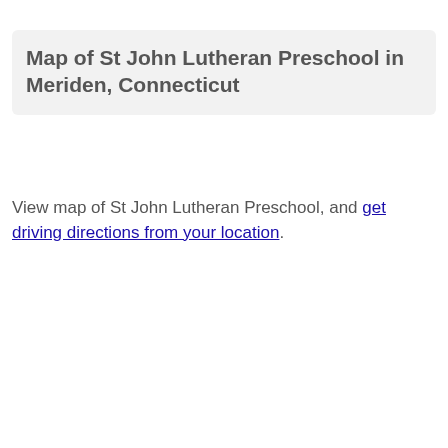Map of St John Lutheran Preschool in Meriden, Connecticut
View map of St John Lutheran Preschool, and get driving directions from your location.